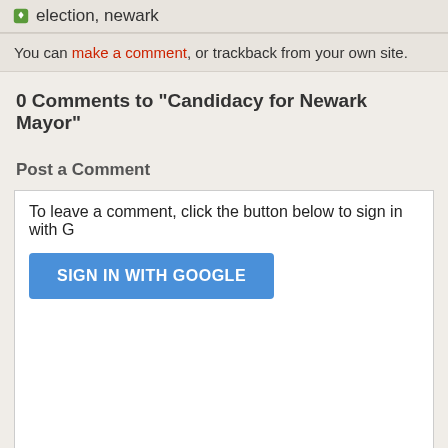election, newark
You can make a comment, or trackback from your own site.
0 Comments to "Candidacy for Newark Mayor"
Post a Comment
To leave a comment, click the button below to sign in with G
SIGN IN WITH GOOGLE